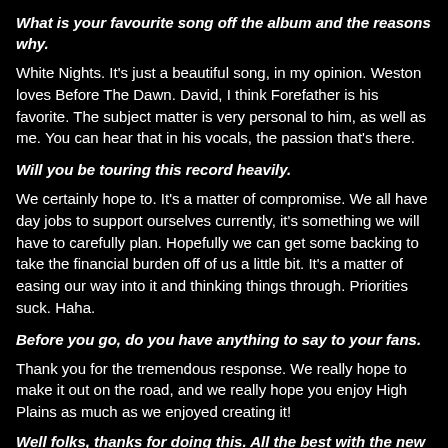What is your favourite song off the album and the reasons why.
White Nights. It’s just a beautiful song, in my opinion. Weston loves Before The Dawn. David, I think Forefather is his favorite. The subject matter is very personal to him, as well as me. You can hear that in his vocals, the passion that’s there.
Will you be touring this record heavily.
We certainly hope to. It’s a matter of compromise. We all have day jobs to support ourselves currently, it’s something we will have to carefully plan. Hopefully we can get some backing to take the financial burden off of us a little bit. It’s a matter of easing our way into it and thinking things through. Priorities suck. Haha.
Before you go, do you have anything to say to your fans.
Thank you for the tremendous response. We really hope to make it out on the road, and we really hope you enjoy High Plains as much as we enjoyed creating it!
Well folks, thanks for doing this. All the best with the new album